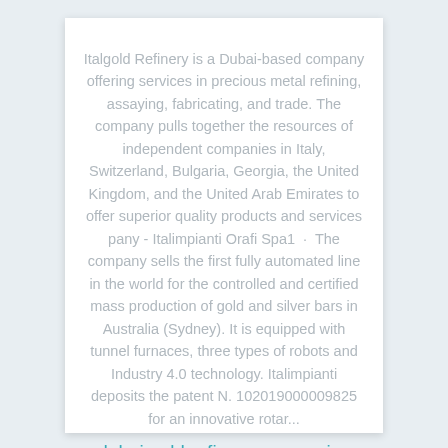Italgold Refinery is a Dubai-based company offering services in precious metal refining, assaying, fabricating, and trade. The company pulls together the resources of independent companies in Italy, Switzerland, Bulgaria, Georgia, the United Kingdom, and the United Arab Emirates to offer superior quality products and services pany - Italimpianti Orafi Spa1  ·  The company sells the first fully automated line in the world for the controlled and certified mass production of gold and silver bars in Australia (Sydney). It is equipped with tunnel furnaces, three types of robots and Industry 4.0 technology. Italimpianti deposits the patent N. 102019000009825 for an innovative rotar...
dubai gold refinery companies